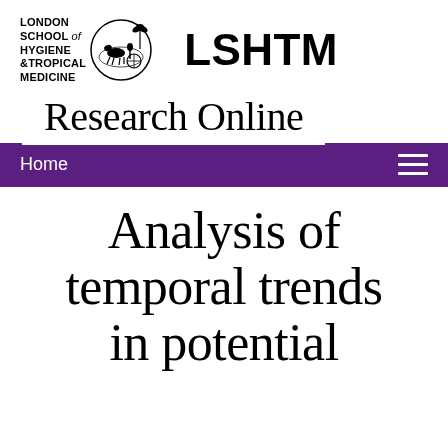[Figure (logo): London School of Hygiene & Tropical Medicine logo with emblem and LSHTM wordmark]
Research Online
Home
Analysis of temporal trends in potential